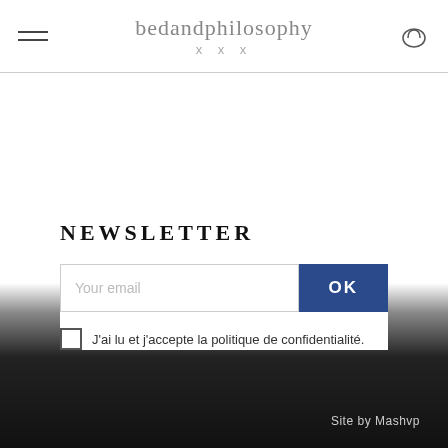bedandphilosophy x x x
NEWSLETTER
Your email
OK
J'ai lu et j'accepte la politique de confidentialité.
Site by Mashvp